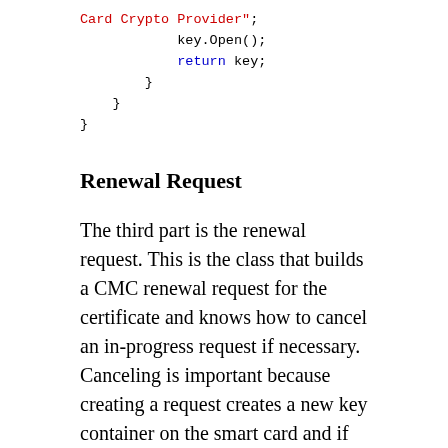Card Crypto Provider";
            key.Open();
            return key;
        }
    }
}
Renewal Request
The third part is the renewal request.  This is the class that builds a CMC renewal request for the certificate and knows how to cancel an in-progress request if necessary.  Canceling is important because creating a request creates a new key container on the smart card and if you have several aborted attempts without cleaning up you could fill up the card with